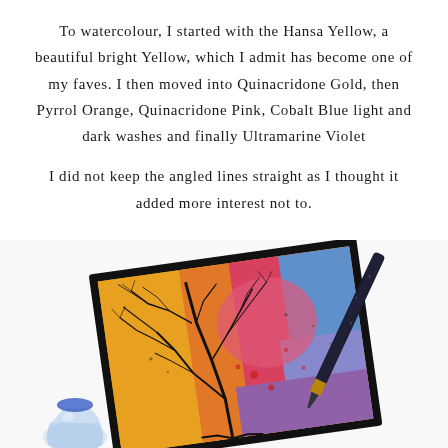To watercolour, I started with the Hansa Yellow, a beautiful bright Yellow, which I admit has become one of my faves. I then moved into Quinacridone Gold, then Pyrrol Orange, Quinacridone Pink, Cobalt Blue light and dark washes and finally Ultramarine Violet

I did not keep the angled lines straight as I thought it added more interest not to.
[Figure (photo): A colorful watercolor painting of a tree with branches against a vivid background of yellow, orange, pink, red, blue, and violet, mounted on a black card, shown with a black pen/brush beside it and a small glass inkwell, displayed on a white surface.]